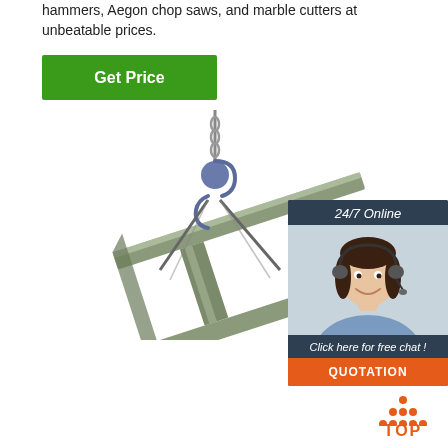hammers, Aegon chop saws, and marble cutters at unbeatable prices.
[Figure (other): Green 'Get Price' button]
[Figure (photo): Steel I-beam suspended by crane hook and wire ropes on white background]
[Figure (infographic): 24/7 Online chat widget with customer service representative photo, 'Click here for free chat!' text, and orange QUOTATION button]
[Figure (other): Orange 'TOP' button with dotted triangle arrow pointing up]